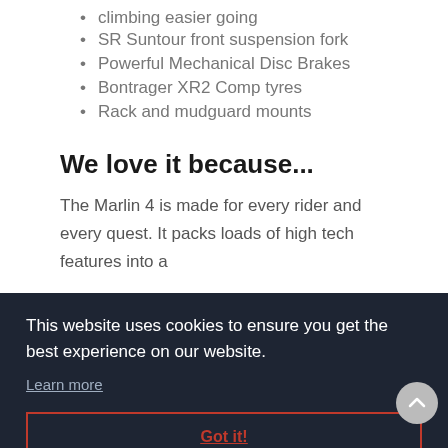climbing easier going
SR Suntour front suspension fork
Powerful Mechanical Disc Brakes
Bontrager XR2 Comp tyres
Rack and mudguard mounts
We love it because...
The Marlin 4 is made for every rider and every quest. It packs loads of high tech features into a
This website uses cookies to ensure you get the best experience on our website.
Learn more
Got it!
hardtail and the ultimate gateway to trail riding.